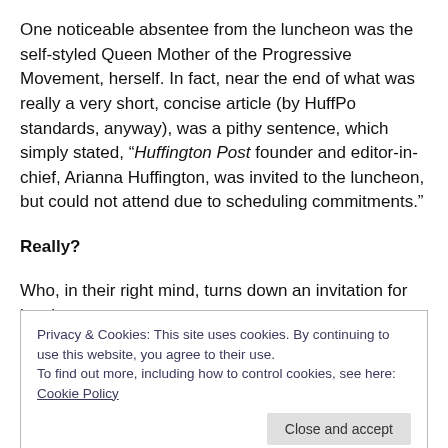One noticeable absentee from the luncheon was the self-styled Queen Mother of the Progressive Movement, herself. In fact, near the end of what was really a very short, concise article (by HuffPo standards, anyway), was a pithy sentence, which simply stated, “Huffington Post founder and editor-in-chief, Arianna Huffington, was invited to the luncheon, but could not attend due to scheduling commitments.”
Really?
Who, in their right mind, turns down an invitation for lunch
Privacy & Cookies: This site uses cookies. By continuing to use this website, you agree to their use.
To find out more, including how to control cookies, see here: Cookie Policy
them out for being distinctly disrespectful – not that she